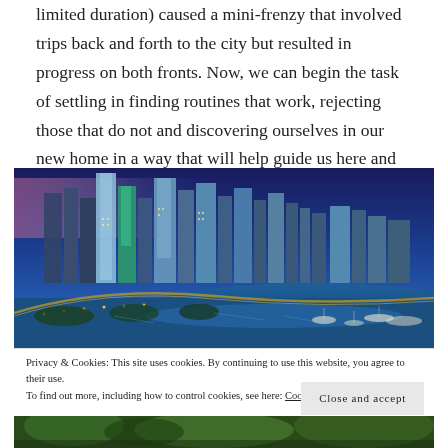limited duration) caused a mini-frenzy that involved trips back and forth to the city but resulted in progress on both fronts. Now, we can begin the task of settling in finding routines that work, rejecting those that do not and discovering ourselves in our new home in a way that will help guide us here and elsewhere.
[Figure (photo): Aerial night-time/dusk photo of a city skyline (Panama City) with tall skyscrapers lit up, a coastal boulevard with car lights, and a bay with boats and calm water under a blue sky.]
Privacy & Cookies: This site uses cookies. By continuing to use this website, you agree to their use.
To find out more, including how to control cookies, see here: Cookie Policy
[Figure (photo): Partial view of a green outdoor/park scene, bottom of page.]